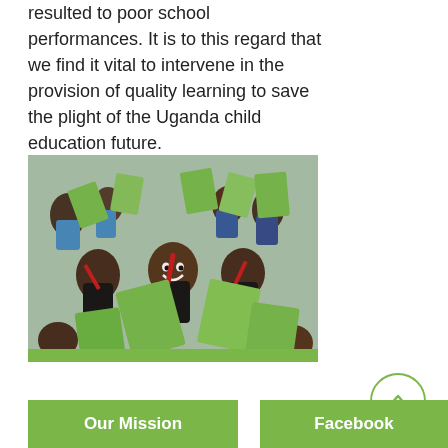resulted to poor school performances. It is to this regard that we find it vital to intervene in the provision of quality learning to save the plight of the Uganda child education future.
[Figure (photo): Group of African schoolchildren in blue and dark uniforms holding green notebooks and red pencils, smiling and cheering outdoors.]
Our Mission
Facebook